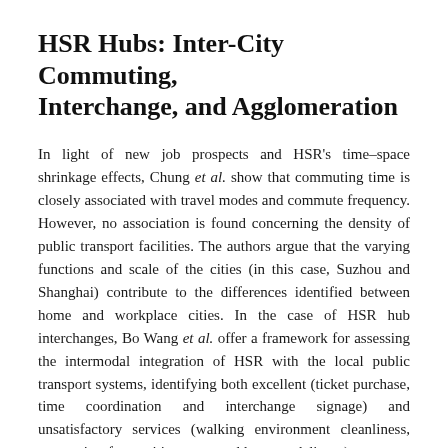HSR Hubs: Inter-City Commuting, Interchange, and Agglomeration
In light of new job prospects and HSR's time–space shrinkage effects, Chung et al. show that commuting time is closely associated with travel modes and commute frequency. However, no association is found concerning the density of public transport facilities. The authors argue that the varying functions and scale of the cities (in this case, Suzhou and Shanghai) contribute to the differences identified between home and workplace cities. In the case of HSR hub interchanges, Bo Wang et al. offer a framework for assessing the intermodal integration of HSR with the local public transport systems, identifying both excellent (ticket purchase, time coordination and interchange signage) and unsatisfactory services (walking environment cleanliness, congestion-free waiting areas and luggage delivery).
Looking at HSR hubs from a holistic place-based perspective...